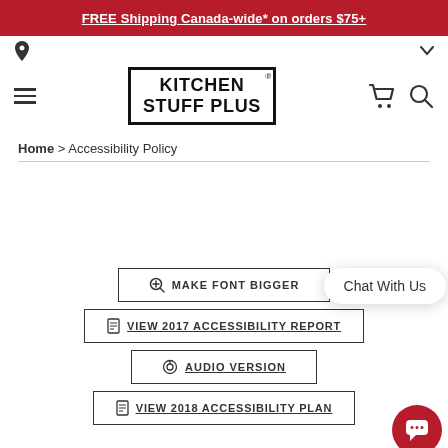FREE Shipping Canada-wide* on orders $75+
[Figure (logo): Kitchen Stuff Plus logo — stamp style with bold text in a rectangle border]
Home > Accessibility Policy
MAKE FONT BIGGER
VIEW 2017 ACCESSIBILITY REPORT
AUDIO VERSION
VIEW 2018 ACCESSIBILITY PLAN
Chat With Us